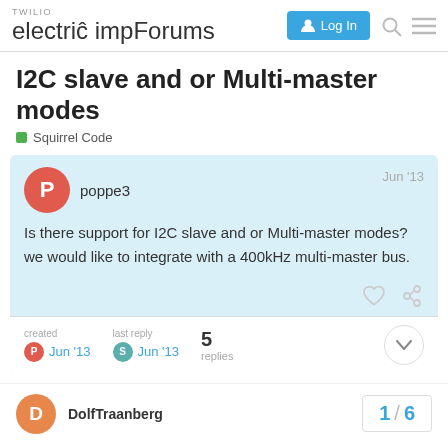TWILIO electric imp Forums | Log In
I2C slave and or Multi-master modes
Squirrel Code
poppe3  Jun '13
Is there support for I2C slave and or Multi-master modes? we would like to integrate with a 400kHz multi-master bus.
created  Jun '13   last reply  Jun '13   5 replies
DolfTraanberg  1 / 6